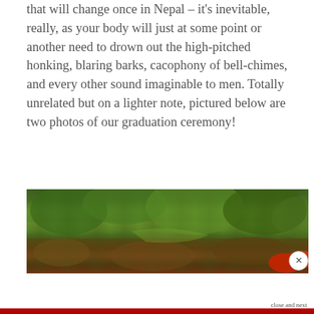that will change once in Nepal – it's inevitable, really, as your body will just at some point or another need to drown out the high-pitched honking, blaring barks, cacophony of bell-chimes, and every other sound imaginable to men. Totally unrelated but on a lighter note, pictured below are two photos of our graduation ceremony!
[Figure (photo): Outdoor photo showing lush green trees and shrubs, appears to be a garden or park setting with red flowers visible in the lower right corner.]
Privacy & Cookies: This site uses cookies. By continuing to use this website, you agree to their use.
To find out more, including how to control cookies, see here: Cookie Policy
Close and accept